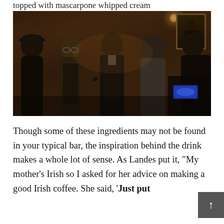topped with mascarpone whipped cream
[Figure (photo): A group of people gathered in a dimly lit bar with exposed brick walls. A bartender in a black vest is speaking with guests. A portrait hangs on the brick wall in the background. Blue bar equipment is visible on the right side.]
Though some of these ingredients may not be found in your typical bar, the inspiration behind the drink makes a whole lot of sense. As Landes put it, “My mother’s Irish so I asked for her advice on making a good Irish coffee. She said, ‘Just put